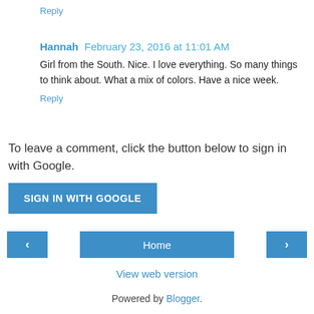Reply
Hannah  February 23, 2016 at 11:01 AM
Girl from the South. Nice. I love everything. So many things to think about. What a mix of colors. Have a nice week.
Reply
To leave a comment, click the button below to sign in with Google.
SIGN IN WITH GOOGLE
Home
View web version
Powered by Blogger.